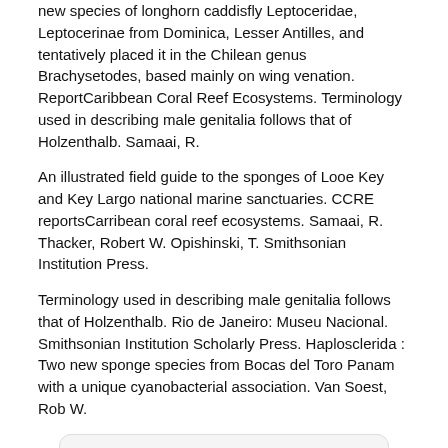new species of longhorn caddisfly Leptoceridae, Leptocerinae from Dominica, Lesser Antilles, and tentatively placed it in the Chilean genus Brachysetodes, based mainly on wing venation. ReportCaribbean Coral Reef Ecosystems. Terminology used in describing male genitalia follows that of Holzenthalb. Samaai, R.
An illustrated field guide to the sponges of Looe Key and Key Largo national marine sanctuaries. CCRE reportsCarribean coral reef ecosystems. Samaai, R. Thacker, Robert W. Opishinski, T. Smithsonian Institution Press.
Terminology used in describing male genitalia follows that of Holzenthalb. Rio de Janeiro: Museu Nacional. Smithsonian Institution Scholarly Press. Haplosclerida : Two new sponge species from Bocas del Toro Panam with a unique cyanobacterial association. Van Soest, Rob W.
Available for Download
Download PDF
Download EPUB
Download FB2
Download MOBI